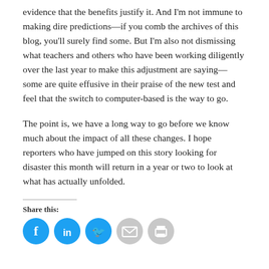evidence that the benefits justify it. And I'm not immune to making dire predictions—if you comb the archives of this blog, you'll surely find some. But I'm also not dismissing what teachers and others who have been working diligently over the last year to make this adjustment are saying—some are quite effusive in their praise of the new test and feel that the switch to computer-based is the way to go.
The point is, we have a long way to go before we know much about the impact of all these changes. I hope reporters who have jumped on this story looking for disaster this month will return in a year or two to look at what has actually unfolded.
Share this:
[Figure (other): Social sharing icons: Facebook, LinkedIn, Twitter, Email, Print]